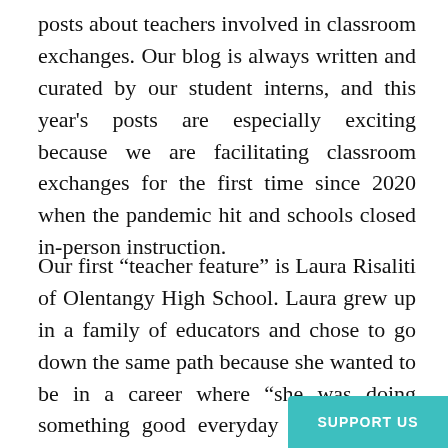posts about teachers involved in classroom exchanges. Our blog is always written and curated by our student interns, and this year's posts are especially exciting because we are facilitating classroom exchanges for the first time since 2020 when the pandemic hit and schools closed in-person instruction.
Our first “teacher feature” is Laura Risaliti of Olentangy High School. Laura grew up in a family of educators and chose to go down the same path because she wanted to be in a career where “she was doing something good everyday and trying to better the world.” She chose English because to her it is a great position to he